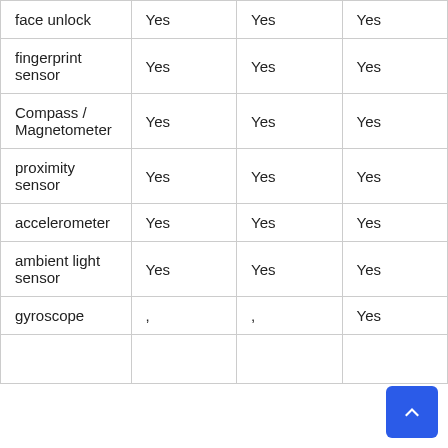| face unlock | Yes | Yes | Yes |
| fingerprint sensor | Yes | Yes | Yes |
| Compass / Magnetometer | Yes | Yes | Yes |
| proximity sensor | Yes | Yes | Yes |
| accelerometer | Yes | Yes | Yes |
| ambient light sensor | Yes | Yes | Yes |
| gyroscope | , | , | Yes |